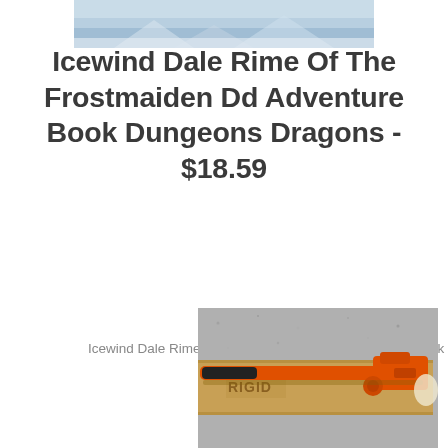[Figure (photo): Partial view of a book cover with blue/teal imagery at the top of the page]
Icewind Dale Rime Of The Frostmaiden Dd Adventure Book Dungeons Dragons - $18.59
Icewind Dale Rime Of The Frostmaiden Dd Adventure Book Dungeons Dragons
[Figure (photo): Photo of an orange RIDGID pipe wrench sitting on top of a cardboard box on a gray surface]